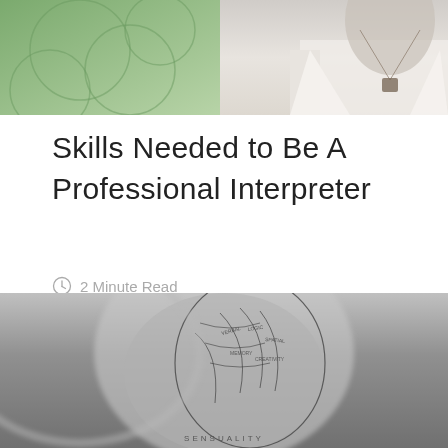[Figure (photo): Top header photo split into two sections: left side shows a green geometric/abstract background, right side shows a person in a white blazer with a pendant necklace]
Skills Needed to Be A Professional Interpreter
2 Minute Read
Share:
[Figure (photo): Black and white close-up photo of a phrenology head bust with labeled sections of the brain, partially blurred]